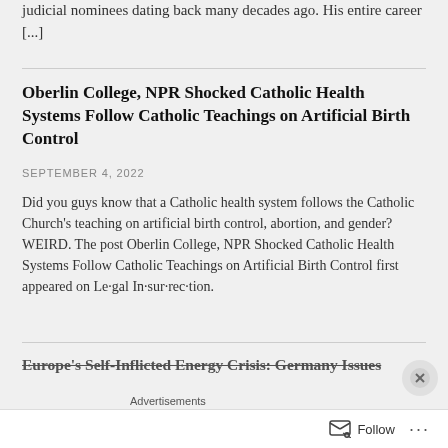judicial nominees dating back many decades ago. His entire career [...]
Oberlin College, NPR Shocked Catholic Health Systems Follow Catholic Teachings on Artificial Birth Control
SEPTEMBER 4, 2022
Did you guys know that a Catholic health system follows the Catholic Church's teaching on artificial birth control, abortion, and gender? WEIRD. The post Oberlin College, NPR Shocked Catholic Health Systems Follow Catholic Teachings on Artificial Birth Control first appeared on Le·gal In·sur·rec·tion.
Europe's Self-Inflicted Energy Crisis: Germany Issues
Advertisements
[Figure (photo): Advertisement banner with dark red background showing 'KISS BORING' text and 'SHOP NOW' button, with a partial face image.]